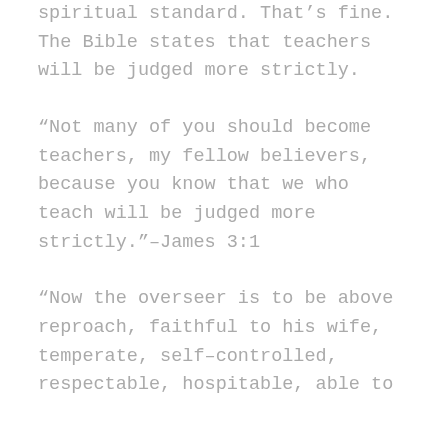spiritual standard. That's fine. The Bible states that teachers will be judged more strictly.
“Not many of you should become teachers, my fellow believers, because you know that we who teach will be judged more strictly.”–James 3:1
“Now the overseer is to be above reproach, faithful to his wife, temperate, self-controlled, respectable, hospitable, able to